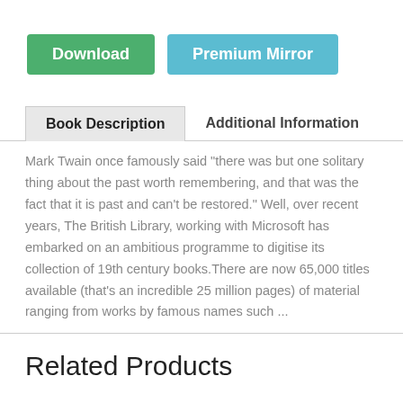[Figure (other): Green Download button and blue Premium Mirror button side by side]
Book Description | Additional Information
Mark Twain once famously said "there was but one solitary thing about the past worth remembering, and that was the fact that it is past and can't be restored." Well, over recent years, The British Library, working with Microsoft has embarked on an ambitious programme to digitise its collection of 19th century books.There are now 65,000 titles available (that's an incredible 25 million pages) of material ranging from works by famous names such ...
Related Products